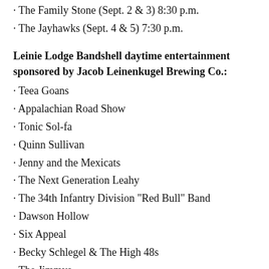· The Family Stone (Sept. 2 & 3) 8:30 p.m.
· The Jayhawks (Sept. 4 & 5) 7:30 p.m.
Leinie Lodge Bandshell daytime entertainment sponsored by Jacob Leinenkugel Brewing Co.:
· Teea Goans
· Appalachian Road Show
· Tonic Sol-fa
· Quinn Sullivan
· Jenny and the Mexicats
· The Next Generation Leahy
· The 34th Infantry Division "Red Bull" Band
· Dawson Hollow
· Six Appeal
· Becky Schlegel & The High 48s
· The Jimmys